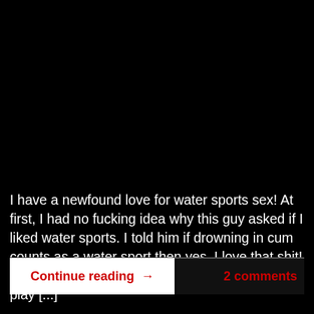I have a newfound love for water sports sex! At first, I had no fucking idea why this guy asked if I liked water sports. I told him if drowning in cum counts as a water sport then yes, I love that shit! Then, when I found out he would pay me 1k to play [...]
Continue reading →
2 comments